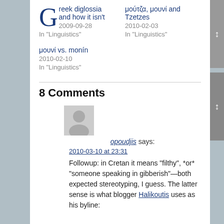Greek diglossia and how it isn't
2009-09-28
In "Linguistics"
μούτζα, μουνί and Tzetzes
2010-02-03
In "Linguistics"
μουνί vs. monín
2010-02-10
In "Linguistics"
8 Comments
[Figure (illustration): Generic user avatar placeholder - grey silhouette of a person]
opoudjis says:
2010-03-10 at 23:31
Followup: in Cretan it means "filthy", *or* "someone speaking in gibberish"—both expected stereotyping, I guess. The latter sense is what blogger Halikoutis uses as his byline: